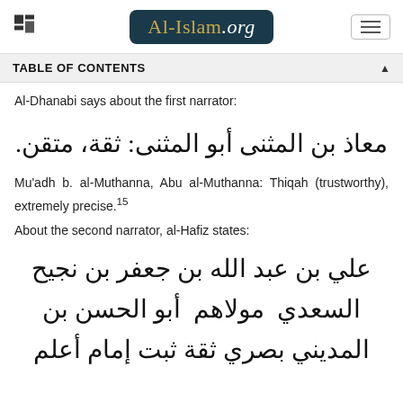Al-Islam.org
TABLE OF CONTENTS
Al-Dhanabi says about the first narrator:
معاذ بن المثنى أبو المثنى: ثقة، متقن.
Mu'adh b. al-Muthanna, Abu al-Muthanna: Thiqah (trustworthy), extremely precise.15
About the second narrator, al-Hafiz states:
علي بن عبد الله بن جعفر بن نجيح السعدي مولاهم أبو الحسن بن المديني بصري ثقة ثبت إمام أعلم